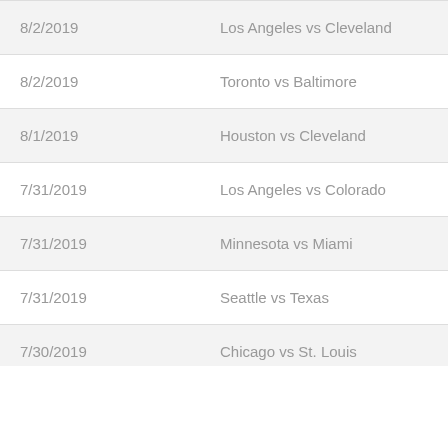| Date | Matchup |
| --- | --- |
| 8/2/2019 | Los Angeles vs Cleveland |
| 8/2/2019 | Toronto vs Baltimore |
| 8/1/2019 | Houston vs Cleveland |
| 7/31/2019 | Los Angeles vs Colorado |
| 7/31/2019 | Minnesota vs Miami |
| 7/31/2019 | Seattle vs Texas |
| 7/30/2019 | Chicago vs St. Louis |